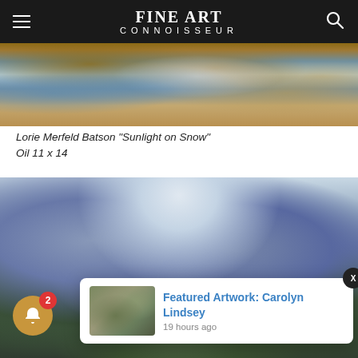FINE ART CONNOISSEUR
[Figure (photo): Top portion of a painting showing snow-covered landscape with warm brown and golden tones — Lorie Merfeld Batson 'Sunlight on Snow']
Lorie Merfeld Batson "Sunlight on Snow"
Oil 11 x 14
[Figure (photo): Large painting of a mountain landscape with tall evergreen trees in foreground, misty blue-purple mountain peaks in background, soft clouds in sky]
Featured Artwork: Carolyn Lindsey
19 hours ago